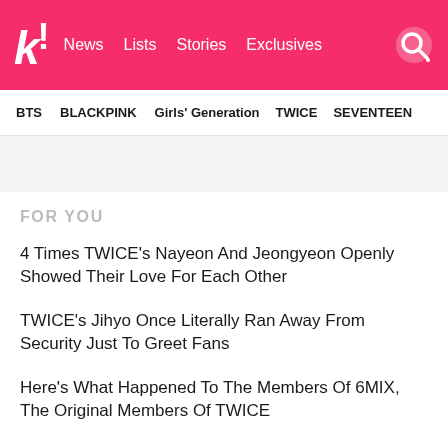k! News Lists Stories Exclusives
BTS  BLACKPINK  Girls' Generation  TWICE  SEVENTEEN
FOR YOU
4 Times TWICE's Nayeon And Jeongyeon Openly Showed Their Love For Each Other
TWICE's Jihyo Once Literally Ran Away From Security Just To Greet Fans
Here's What Happened To The Members Of 6MIX, The Original Members Of TWICE
BLACKPINK's Jennie To Make Her Acting Debut Under "Jennie Ruby Jane"— Here's What We Know About The Meaning Behind Her Name